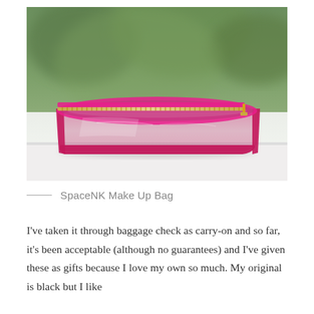[Figure (photo): A hot pink/magenta clear makeup bag with gold zipper, viewed from the side. The bag has transparent PVC sides with vivid pink trim and a gold zipper pull. Background is blurred green foliage and a white surface.]
SpaceNK Make Up Bag
I've taken it through baggage check as carry-on and so far, it's been acceptable (although no guarantees) and I've given these as gifts because I love my own so much. My original is black but I like